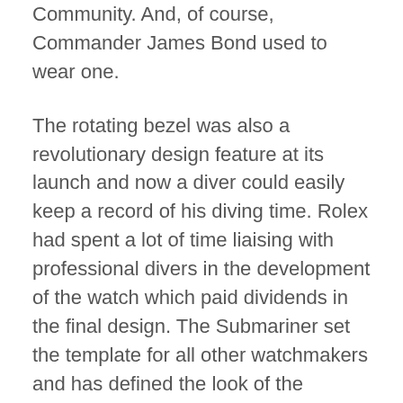Community. And, of course, Commander James Bond used to wear one.
The rotating bezel was also a revolutionary design feature at its launch and now a diver could easily keep a record of his diving time. Rolex had spent a lot of time liaising with professional divers in the development of the watch which paid dividends in the final design. The Submariner set the template for all other watchmakers and has defined the look of the modern diving watch ever since.
The original Submariner may never be improved upon but it is